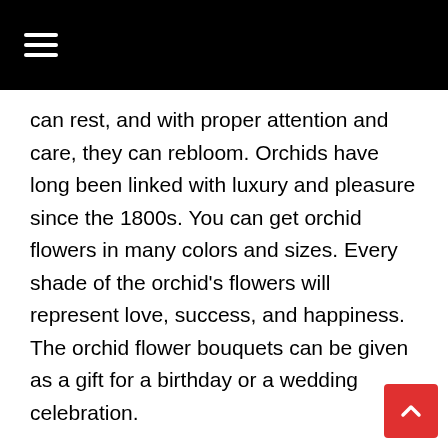☰
can rest, and with proper attention and care, they can rebloom. Orchids have long been linked with luxury and pleasure since the 1800s. You can get orchid flowers in many colors and sizes. Every shade of the orchid's flowers will represent love, success, and happiness. The orchid flower bouquets can be given as a gift for a birthday or a wedding celebration.
Carnation
Carnation flowers are usually used to honor a wedding anniversary. You can give your love partner white carnation flowers. It depicts lasting